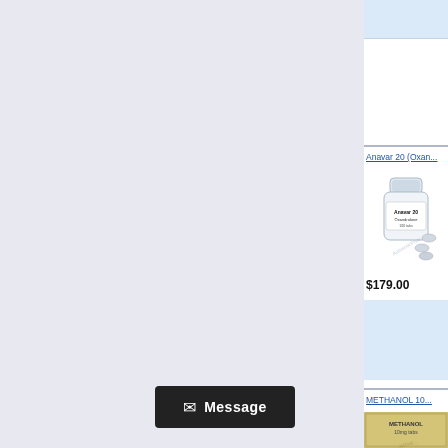[Figure (screenshot): Top blue bar UI element on right sidebar]
Anavar 20 (Oxan...
[Figure (photo): Product photo of Anavar 20 pill bottle with tablets]
$179.00
[Figure (screenshot): Blue info/add-to-cart box]
METHANOL 10...
[Figure (photo): Product photo of METHANOL 10 package]
[Figure (screenshot): Message button overlay at bottom of page]